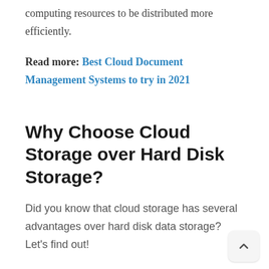computing resources to be distributed more efficiently.
Read more: Best Cloud Document Management Systems to try in 2021
Why Choose Cloud Storage over Hard Disk Storage?
Did you know that cloud storage has several advantages over hard disk data storage? Let's find out!
For example, it gives you the ability to access your data wherever your device